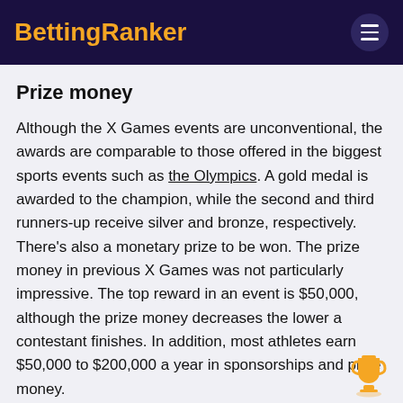BettingRanker
Prize money
Although the X Games events are unconventional, the awards are comparable to those offered in the biggest sports events such as the Olympics. A gold medal is awarded to the champion, while the second and third runners-up receive silver and bronze, respectively. There's also a monetary prize to be won. The prize money in previous X Games was not particularly impressive. The top reward in an event is $50,000, although the prize money decreases the lower a contestant finishes. In addition, most athletes earn $50,000 to $200,000 a year in sponsorships and prize money.